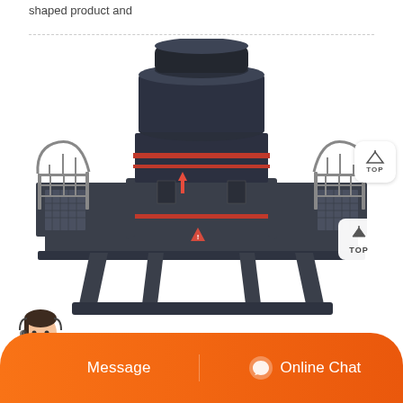shaped product and
[Figure (photo): Large industrial vertical shaft impact crusher / sand making machine, dark gray/charcoal colored, with symmetrical side walkways with railings, multiple red accent rings at mid-section, warning triangle label, mounted on a wide base frame with conical legs. A 'TOP' button icon is overlaid in the lower right area of the image.]
[Figure (infographic): Orange chat bar at bottom with a female customer service representative avatar on the left (headset, white shirt), 'Message' text in center, and 'Online Chat' with headset icon on the right.]